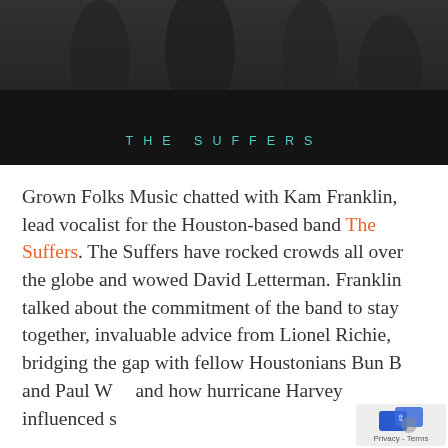[Figure (photo): Dark band photo with 'THE SUFFERS' title text in teal spaced letters overlaid at the bottom of the image]
Grown Folks Music chatted with Kam Franklin, lead vocalist for the Houston-based band The Suffers. The Suffers have rocked crowds all over the globe and wowed David Letterman. Franklin talked about the commitment of the band to stay together, invaluable advice from Lionel Richie, bridging the gap with fellow Houstonians Bun B and Paul W and how hurricane Harvey influenced s